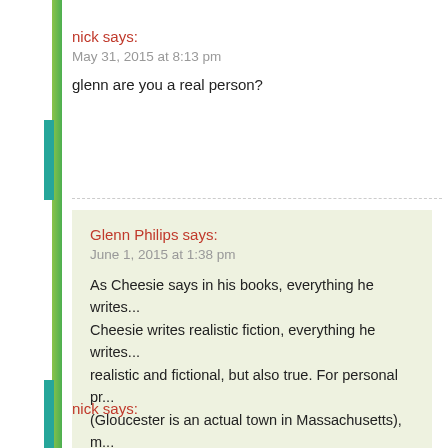nick says:
May 31, 2015 at 8:13 pm
glenn are you a real person?
Glenn Philips says:
June 1, 2015 at 1:38 pm
As Cheesie says in his books, everything he writes... Cheesie writes realistic fiction, everything he writes... realistic and fictional, but also true. For personal pr... (Gloucester is an actual town in Massachusetts), m... me to be no more specific than that. I hope that he...
nick says: